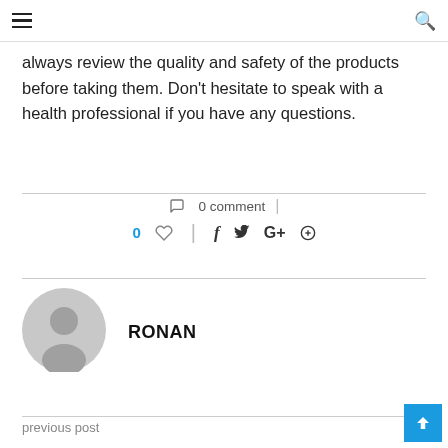≡ [hamburger menu] | [search icon]
always review the quality and safety of the products before taking them. Don't hesitate to speak with a health professional if you have any questions.
◯ 0 comment | 0 ♡ | f  𝕋 G+ ⊕
[Figure (illustration): User avatar: gray circular avatar with a person silhouette]
RONAN
previous post